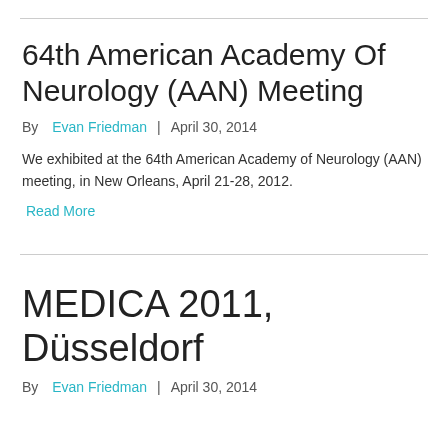64th American Academy Of Neurology (AAN) Meeting
By  Evan Friedman  |  April 30, 2014
We exhibited at the 64th American Academy of Neurology (AAN) meeting, in New Orleans, April 21-28, 2012.
Read More
MEDICA 2011, Düsseldorf
By  Evan Friedman  |  April 30, 2014